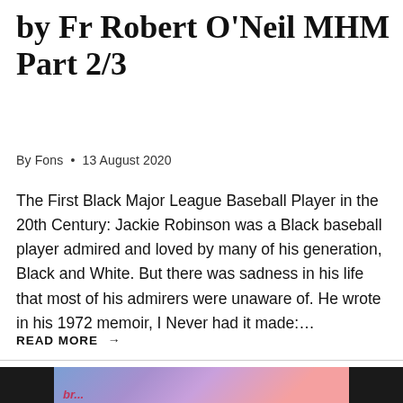by Fr Robert O'Neil MHM Part 2/3
By Fons • 13 August 2020
The First Black Major League Baseball Player in the 20th Century: Jackie Robinson was a Black baseball player admired and loved by many of his generation, Black and White. But there was sadness in his life that most of his admirers were unaware of. He wrote in his 1972 memoir, I Never had it made:…
READ MORE →
[Figure (photo): Partial image strip at bottom of page showing dark left edge, colorful graffiti-style artwork in center with red cursive text, and dark right edge.]